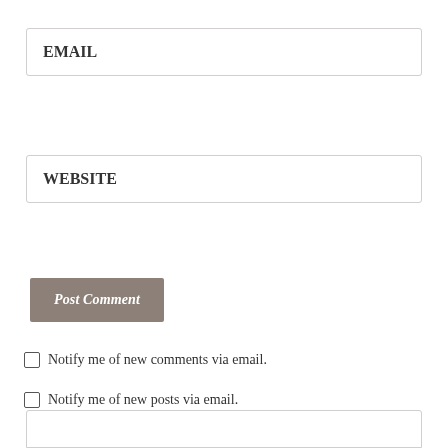EMAIL
WEBSITE
Post Comment
Notify me of new comments via email.
Notify me of new posts via email.